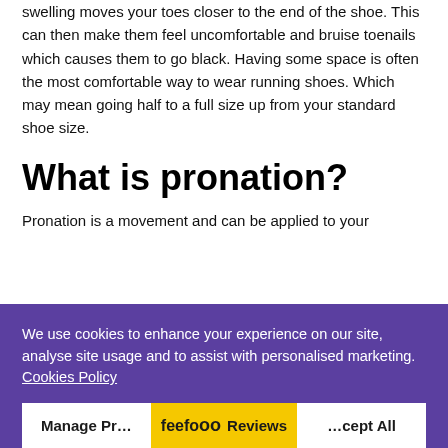swelling moves your toes closer to the end of the shoe. This can then make them feel uncomfortable and bruise toenails which causes them to go black. Having some space is often the most comfortable way to wear running shoes. Which may mean going half to a full size up from your standard shoe size.
What is pronation?
Pronation is a movement and can be applied to your
We use cookies to enhance your experience on our site, analyse site usage and to assist with personalised marketing. Cookies Policy